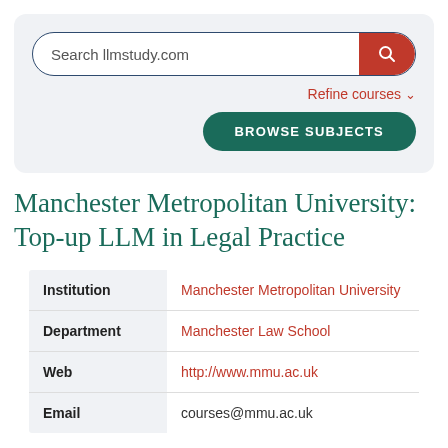[Figure (screenshot): Search bar with 'Search llmstudy.com' placeholder and orange search button, Refine courses link, and dark green Browse Subjects button]
Manchester Metropolitan University: Top-up LLM in Legal Practice
| Institution | Manchester Metropolitan University |
| Department | Manchester Law School |
| Web | http://www.mmu.ac.uk |
| Email | courses@mmu.ac.uk |